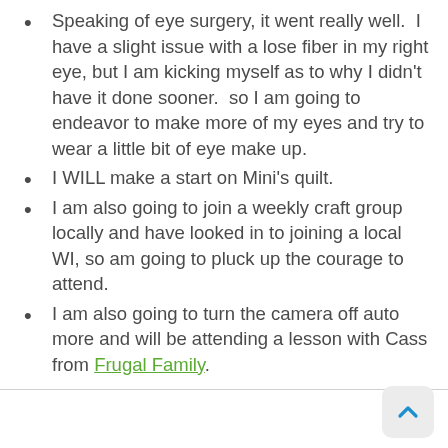Speaking of eye surgery, it went really well. I have a slight issue with a lose fiber in my right eye, but I am kicking myself as to why I didn't have it done sooner.  so I am going to endeavor to make more of my eyes and try to wear a little bit of eye make up.
I WILL make a start on Mini's quilt.
I am also going to join a weekly craft group locally and have looked in to joining a local WI, so am going to pluck up the courage to attend.
I am also going to turn the camera off auto more and will be attending a lesson with Cass from Frugal Family.